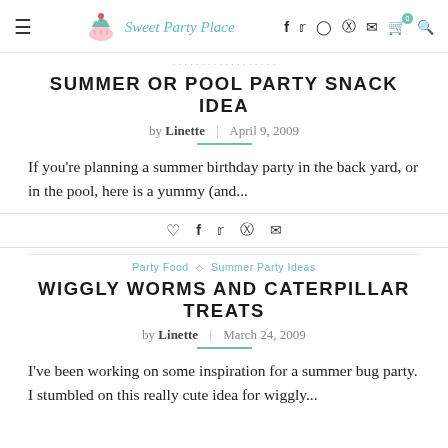Sweet Party Place — navigation header with social icons
breadcrumb navigation
SUMMER OR POOL PARTY SNACK IDEA
by Linette | April 9, 2009
If you're planning a summer birthday party in the back yard, or in the pool, here is a yummy (and...
share icons: heart, facebook, twitter, pinterest, email
Party Food ◇ Summer Party Ideas
WIGGLY WORMS AND CATERPILLAR TREATS
by Linette | March 24, 2009
I've been working on some inspiration for a summer bug party. I stumbled on this really cute idea for wiggly...